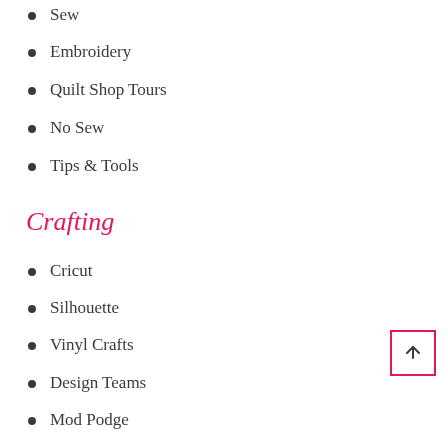Sew
Embroidery
Quilt Shop Tours
No Sew
Tips & Tools
Crafting
Cricut
Silhouette
Vinyl Crafts
Design Teams
Mod Podge
Joy's Life Stamps